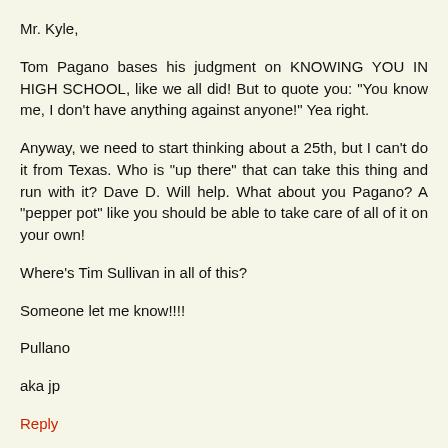Mr. Kyle,
Tom Pagano bases his judgment on KNOWING YOU IN HIGH SCHOOL, like we all did! But to quote you: "You know me, I don't have anything against anyone!" Yea right.
Anyway, we need to start thinking about a 25th, but I can't do it from Texas. Who is "up there" that can take this thing and run with it? Dave D. Will help. What about you Pagano? A "pepper pot" like you should be able to take care of all of it on your own!
Where's Tim Sullivan in all of this?
Someone let me know!!!!
Pullano
aka jp
Reply